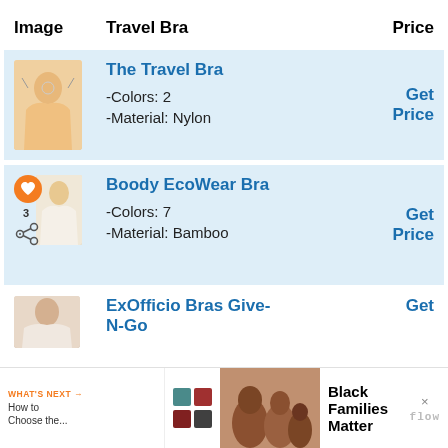| Image | Travel Bra | Price |
| --- | --- | --- |
| [image] | The Travel Bra
-Colors: 2
-Material: Nylon | Get Price |
| [image] | Boody EcoWear Bra
-Colors: 7
-Material: Bamboo | Get Price |
| [image] | ExOfficio Bras Give-N-Go | Get |
[Figure (infographic): Advertisement banner at the bottom showing Black Families Matter text with a family photo and a logo]